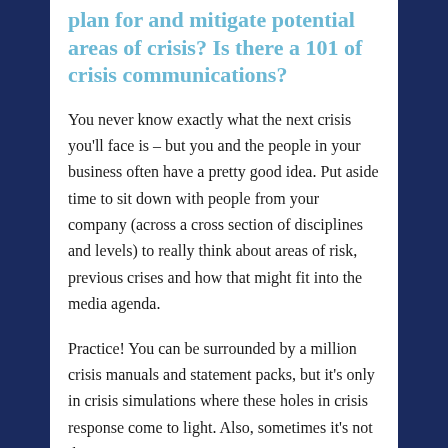plan for and mitigate potential areas of crisis? Is there a 101 of crisis communications?
You never know exactly what the next crisis you'll face is – but you and the people in your business often have a pretty good idea. Put aside time to sit down with people from your company (across a cross section of disciplines and levels) to really think about areas of risk, previous crises and how that might fit into the media agenda.
Practice! You can be surrounded by a million crisis manuals and statement packs, but it's only in crisis simulations where these holes in crisis response come to light. Also, sometimes it's not the person